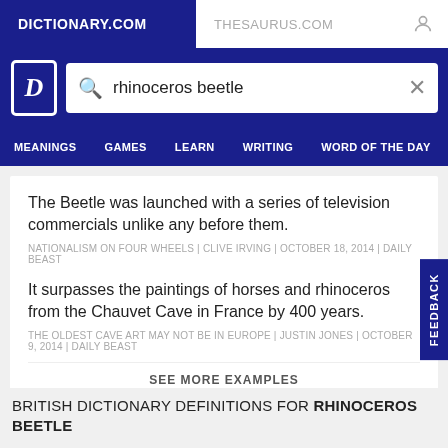DICTIONARY.COM | THESAURUS.COM
rhinoceros beetle
MEANINGS | GAMES | LEARN | WRITING | WORD OF THE DAY
The Beetle was launched with a series of television commercials unlike any before them.
NATIONALISM ON FOUR WHEELS | CLIVE IRVING | OCTOBER 18, 2014 | DAILY BEAST
It surpasses the paintings of horses and rhinoceros from the Chauvet Cave in France by 400 years.
THE OLDEST CAVE ART MAY NOT BE IN EUROPE | JUSTIN JONES | OCTOBER 9, 2014 | DAILY BEAST
SEE MORE EXAMPLES
BRITISH DICTIONARY DEFINITIONS FOR RHINOCEROS BEETLE